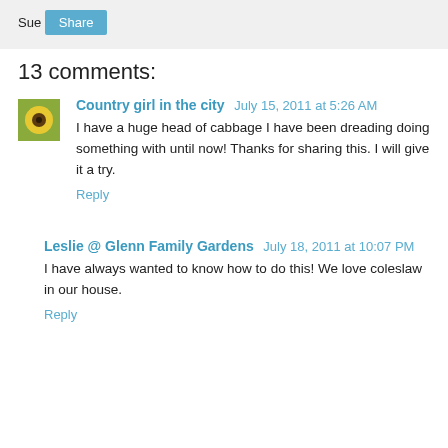Sue
Share
13 comments:
Country girl in the city  July 15, 2011 at 5:26 AM
I have a huge head of cabbage I have been dreading doing something with until now! Thanks for sharing this. I will give it a try.
Reply
Leslie @ Glenn Family Gardens  July 18, 2011 at 10:07 PM
I have always wanted to know how to do this! We love coleslaw in our house.
Reply